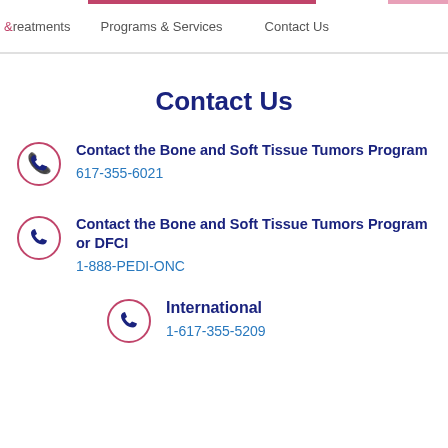&Treatments  Programs & Services  Contact Us
Contact Us
Contact the Bone and Soft Tissue Tumors Program
617-355-6021
Contact the Bone and Soft Tissue Tumors Program or DFCI
1-888-PEDI-ONC
International
1-617-355-5209